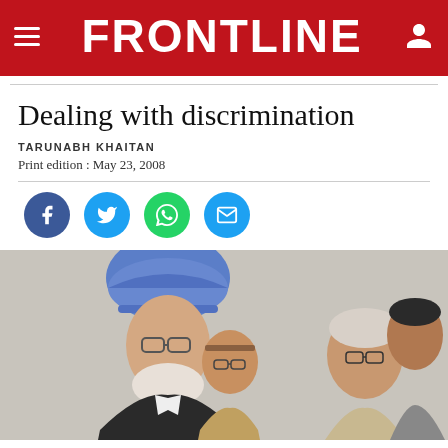FRONTLINE
Dealing with discrimination
TARUNABH KHAITAN
Print edition : May 23, 2008
[Figure (photo): Group photo showing Indian political figures including a man wearing a blue turban and glasses in the foreground, with other men behind him]
[Figure (infographic): Social media sharing icons: Facebook (blue circle), Twitter (blue circle), WhatsApp (green circle), Email (blue circle)]